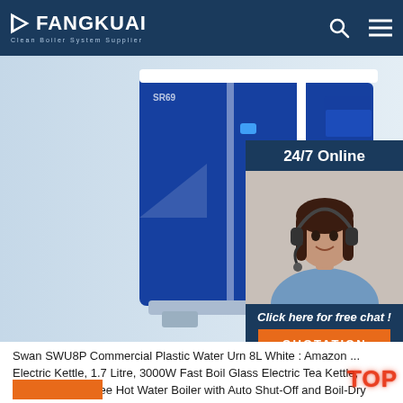FANGKUAI Clean Boiler System Supplier
[Figure (photo): Blue and white industrial boiler unit (FANGKUAI SR69) on white background, front/side view. Overlaid with a 24/7 Online chat widget showing a female customer service agent wearing a headset, with 'Click here for free chat!' text and an orange QUOTATION button.]
Swan SWU8P Commercial Plastic Water Urn 8L White : Amazon ... Electric Kettle, 1.7 Litre, 3000W Fast Boil Glass Electric Tea Kettle, Cordless BPA-Free Hot Water Boiler with Auto Shut-Off and Boil-Dry Protection, LED Lights, Keep Warm Function, Black Russell Hobbs 23840 Compact Travel Electric Kettle, Plastic, 1000 W, White